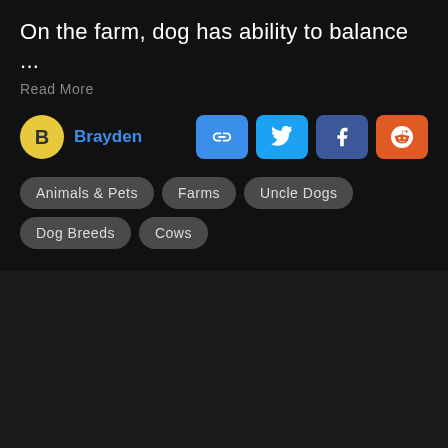On the farm, dog has ability to balance ...
Read More
Brayden
[Figure (infographic): Social share buttons: link/copy, Twitter, Facebook, Reddit]
Animals & Pets
Farms
Uncle Dogs
Dog Breeds
Cows